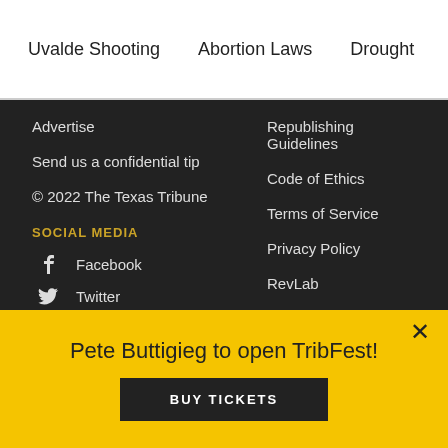Uvalde Shooting  Abortion Laws  Drought  Military Confinement
Advertise
Send us a confidential tip
© 2022 The Texas Tribune
SOCIAL MEDIA
Facebook
Twitter
YouTube
Instagram
LinkedIn
Republishing Guidelines
Code of Ethics
Terms of Service
Privacy Policy
RevLab
Corrections
Feeds
Newsletters
Audio
Video
Pete Buttigieg to open TribFest!
BUY TICKETS